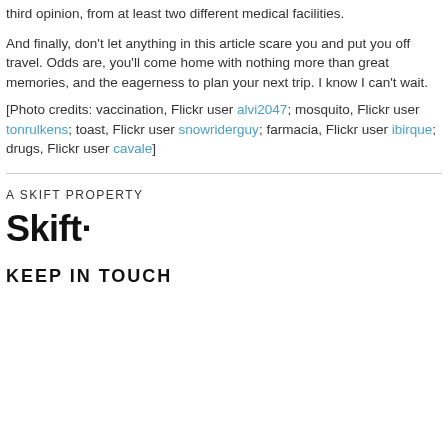third opinion, from at least two different medical facilities.
And finally, don't let anything in this article scare you and put you off travel. Odds are, you'll come home with nothing more than great memories, and the eagerness to plan your next trip. I know I can't wait.
[Photo credits: vaccination, Flickr user alvi2047; mosquito, Flickr user tonrulkens; toast, Flickr user snowriderguy; farmacia, Flickr user ibirque; drugs, Flickr user cavale]
A SKIFT PROPERTY
Skift.
KEEP IN TOUCH